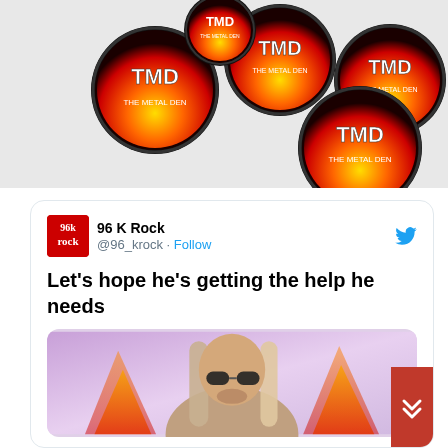[Figure (photo): Multiple round TMD (The Metal Den) buttons/badges with fire graphics piled together on a white background]
[Figure (screenshot): Tweet from 96 K Rock (@96_krock) with Twitter Follow button and Twitter bird logo. Tweet text reads: Let's hope he's getting the help he needs. Below is a photo of a man with long blonde/purple hair wearing sunglasses in front of colorful background.]